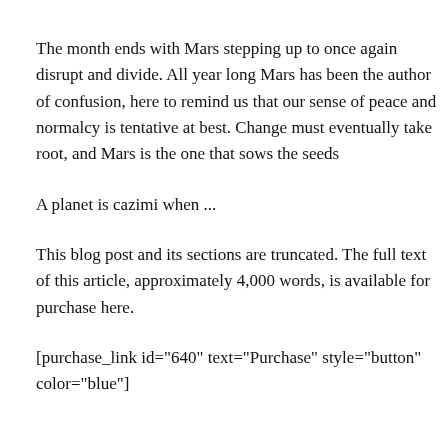The month ends with Mars stepping up to once again disrupt and divide. All year long Mars has been the author of confusion, here to remind us that our sense of peace and normalcy is tentative at best. Change must eventually take root, and Mars is the one that sows the seeds
A planet is cazimi when ...
This blog post and its sections are truncated. The full text of this article, approximately 4,000 words, is available for purchase here.
[purchase_link id="640" text="Purchase" style="button" color="blue"]